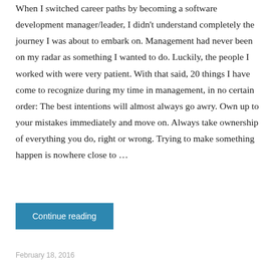When I switched career paths by becoming a software development manager/leader, I didn't understand completely the journey I was about to embark on. Management had never been on my radar as something I wanted to do. Luckily, the people I worked with were very patient. With that said, 20 things I have come to recognize during my time in management, in no certain order: The best intentions will almost always go awry. Own up to your mistakes immediately and move on. Always take ownership of everything you do, right or wrong. Trying to make something happen is nowhere close to …
Continue reading
February 18, 2016